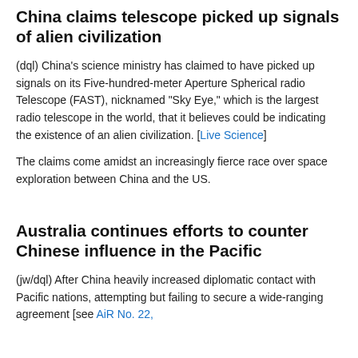China claims telescope picked up signals of alien civilization
(dql) China's science ministry has claimed to have picked up signals on its Five-hundred-meter Aperture Spherical radio Telescope (FAST), nicknamed "Sky Eye," which is the largest radio telescope in the world, that it believes could be indicating the existence of an alien civilization. [Live Science]
The claims come amidst an increasingly fierce race over space exploration between China and the US.
Australia continues efforts to counter Chinese influence in the Pacific
(jw/dql) After China heavily increased diplomatic contact with Pacific nations, attempting but failing to secure a wide-ranging agreement [see AiR No. 22,